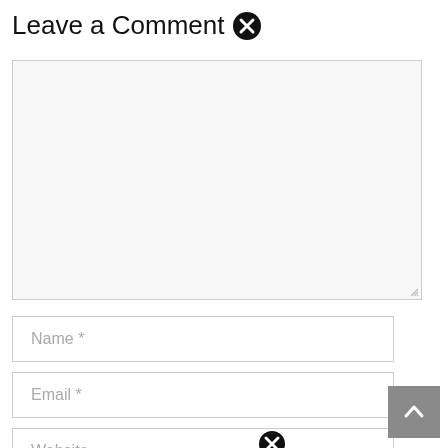Leave a Comment ❌
[Figure (screenshot): Large empty textarea input box with light gray background and resize handle at bottom-right]
Name *
Email *
Website